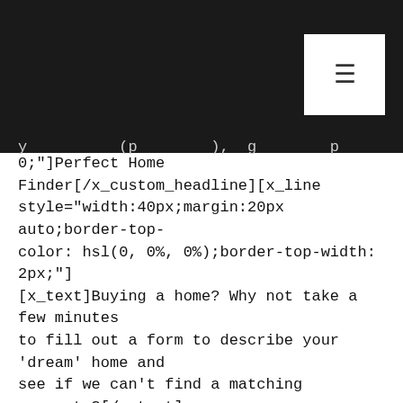y ... (p ...), g p
0;"]Perfect Home Finder[/x_custom_headline][x_line style="width:40px;margin:20px auto;border-top-color: hsl(0, 0%, 0%);border-top-width: 2px;"]
[x_text]Buying a home? Why not take a few minutes to fill out a form to describe your ‘dream’ home and see if we can’t find a matching property?[/x_text]
[x_button size="regular" block="false" circle="false" icon_only="false" href="/perfect-home-finder/" title="" target="" info="none" info_place="top" info_trigger="hover" info_content="" style="margin-top:20px;"]Send me Listings[/x_button][/cs_column]
[cs_column bg_color="hsl(0, 0%, 0%)" fade="false" fade_animation="in" fade_animation_offset="45px"